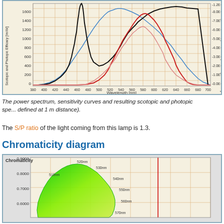[Figure (continuous-plot): Power spectrum, scotopic and photopic sensitivity/efficacy curves plotted against wavelength (nm) from 380 to 780 nm. Left y-axis: Scotopic and Photopic Efficacy [lm/W], 0-1800. Right y-axis: Scotopic and Photopic Power Spectrum [lm/m^2/nm]. Curves: black (scotopic efficacy), blue (photopic power spectrum), red (photopic efficacy), pink (scotopic power spectrum). Orange grid lines on beige background.]
The power spectrum, sensitivity curves and resulting scotopic and photopic spe... defined at 1 m distance).
The S/P ratio of the light coming from this lamp is 1.3.
Chromaticity diagram
[Figure (continuous-plot): Chromaticity diagram showing the CIE 1931 color space chromaticity diagram. Green horseshoe-shaped gamut boundary with wavelength labels (510nm, 520nm, 530nm, 540nm, 550nm, 560nm, 570nm). Y-axis shows values 0.6000, 0.7000, 0.8000, 0.9000. Red vertical line marking a specific chromaticity point.]